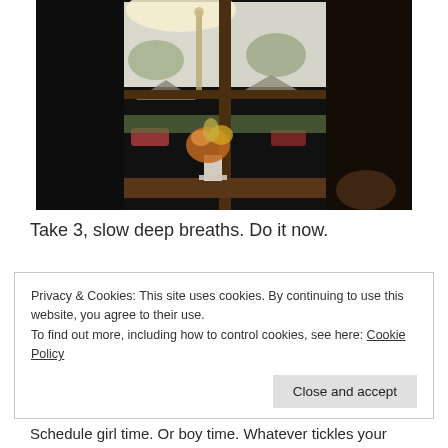[Figure (photo): Interior photo looking out through a wooden window frame. A flower arrangement in a white vase sits on the windowsill. Outside the window are trees, houses, and parked cars on a grey overcast day. The interior sides of the window are in deep shadow.]
Take 3, slow deep breaths. Do it now.
Privacy & Cookies: This site uses cookies. By continuing to use this website, you agree to their use.
To find out more, including how to control cookies, see here: Cookie Policy
[Close and accept]
Schedule girl time. Or boy time. Whatever tickles your